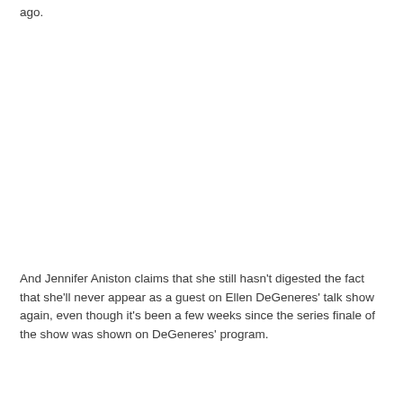ago.
And Jennifer Aniston claims that she still hasn't digested the fact that she'll never appear as a guest on Ellen DeGeneres' talk show again, even though it's been a few weeks since the series finale of the show was shown on DeGeneres' program.